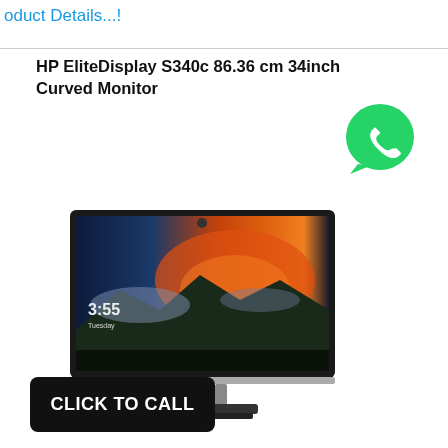oduct Details...!
HP EliteDisplay S340c 86.36 cm 34inch Curved Monitor
[Figure (logo): WhatsApp green chat bubble logo with phone handset icon]
[Figure (photo): HP EliteDisplay S340c 34-inch curved ultrawide monitor showing a landscape with fire sky and time 3:55 Tuesday on screen, silver and black design with stand]
CLICK TO CALL